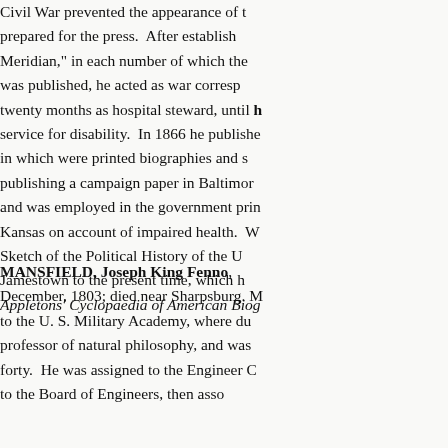Civil War prevented the appearance of the work prepared for the press. After establishing the "Meridian," in each number of which the work was published, he acted as war correspondent, twenty months as hospital steward, until discharged from service for disability. In 1866 he published a paper in which were printed biographies and sketches, publishing a campaign paper in Baltimore in 1872, and was employed in the government printing office. Kansas on account of impaired health. W... Sketch of the Political History of the U... Jamestown to the present time, which h... Appletons' Cyclopaedia of American Biog...
MANSFIELD, Joseph King Fenno, December, 1803; died near Sharpsburg. M... to the U. S. Military Academy, where du... professor of natural philosophy, and was... forty. He was assigned to the Engineer C... to the Board of Engineers, then asso...